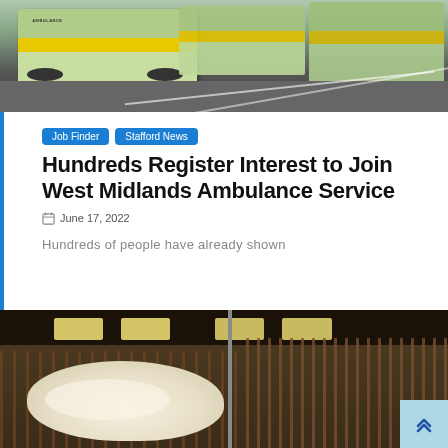[Figure (photo): Ambulance vehicles parked in a parking lot, green and yellow NHS ambulance livery visible]
Job Finder
Stafford News
Hundreds Register Interest to Join West Midlands Ambulance Service
June 17, 2022
Hundreds of people have already shown
[Figure (photo): Sheep in a barn or stable, with fence/stall bars visible and ceiling lights overhead]